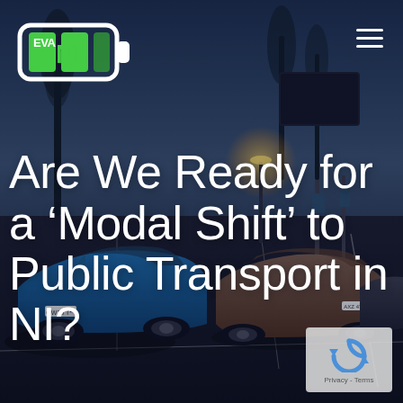[Figure (photo): Background photo of electric cars parked in a car park at dusk/twilight, with trees and charging infrastructure visible. A blue small EV is prominently visible in the foreground.]
[Figure (logo): EVA NI logo — a battery icon with green bars and 'EVA' text in white, 'NI' in green letters inside the battery shape, white rounded rectangle border.]
Are We Ready for a ‘Modal Shift’ to Public Transport in NI?
[Figure (other): reCAPTCHA widget in bottom-right corner showing the circular arrow logo and 'Privacy - Terms' text below.]